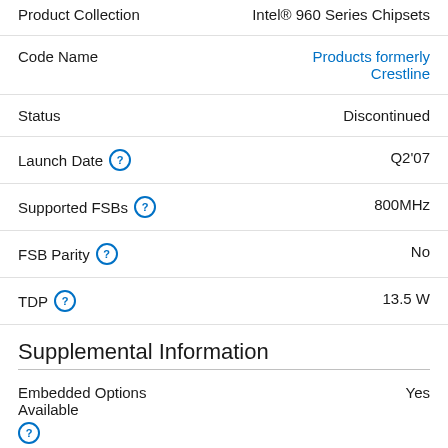Product Collection: Intel® 960 Series Chipsets
Code Name: Products formerly Crestline
Status: Discontinued
Launch Date: Q2'07
Supported FSBs: 800MHz
FSB Parity: No
TDP: 13.5 W
Supplemental Information
Embedded Options Available: Yes
Datasheet: View now